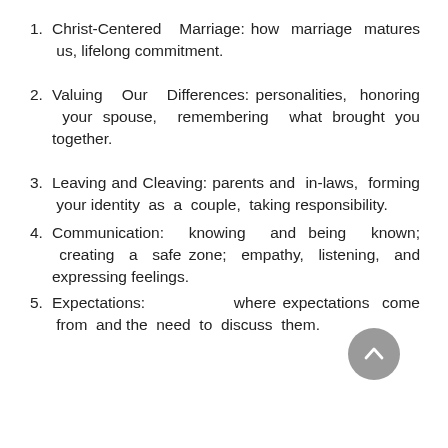1. Christ-Centered Marriage: how marriage matures us, lifelong commitment.
2. Valuing Our Differences: personalities, honoring your spouse, remembering what brought you together.
3. Leaving and Cleaving: parents and in-laws, forming your identity as a couple, taking responsibility.
4. Communication: knowing and being known; creating a safe zone; empathy, listening, and expressing feelings.
5. Expectations: where expectations come from and the need to discuss them.